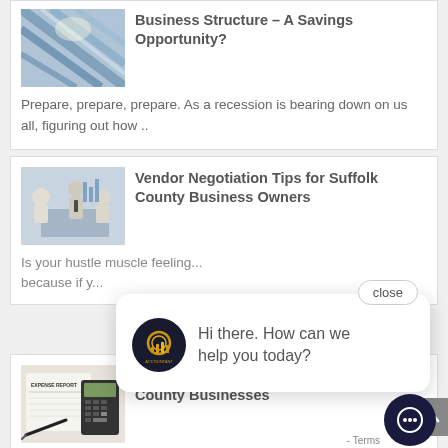[Figure (photo): Blue metallic structural steel beams from below]
Business Structure – A Savings Opportunity?
Prepare, prepare, prepare. As a recession is bearing down on us all, figuring out how ..
[Figure (photo): Business people at a meeting table with charts]
Vendor Negotiation Tips for Suffolk County Business Owners
Is your hustle muscle feeling...
because if y...
[Figure (screenshot): Chat widget popup with logo saying Hi there. How can we help you today? and close button]
[Figure (photo): Expense report with calculator and pen]
A Cutting Expenses How-to for Suffolk County Businesses
As a small business owner, you're